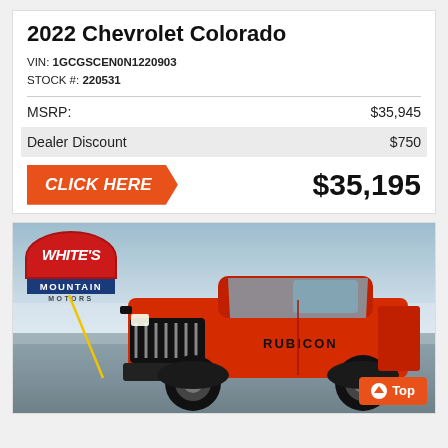2022 Chevrolet Colorado
VIN: 1GCGSCEN0N1220903
STOCK #: 220531
| MSRP: | $35,945 |
| Dealer Discount | $750 |
CLICK HERE   $35,195
[Figure (photo): Red Jeep Gladiator Rubicon truck photographed in a dealership parking lot with White's Mountain Motors logo overlay and a yellow diagonal line annotation.]